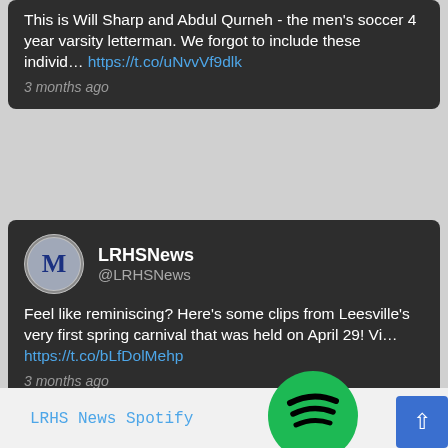This is Will Sharp and Abdul Qurneh - the men’s soccer 4 year varsity letterman. We forgot to include these individ… https://t.co/uNvvVf9dlk
3 months ago
LRHSNews @LRHSNews
Feel like reminiscing? Here’s some clips from Leesville’s very first spring carnival that was held on April 29! Vi… https://t.co/bLfDolMehp
3 months ago
LRHS News Spotify
[Figure (logo): Spotify green circle logo with three curved lines]